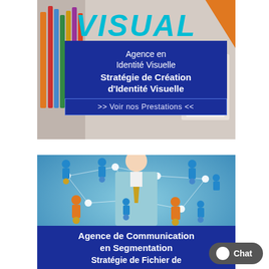[Figure (illustration): Top promotional image: light background with colored pencils on the left, orange triangle on the upper right, and the word VISUAL in large teal italic bold text at the top center. A dark blue overlay card shows agency text.]
Agence en Identité Visuelle Stratégie de Création d'Identité Visuelle
>> Voir  nos Prestations <<
[Figure (illustration): Bottom promotional image: a man in a teal suit with gold tie surrounded by a connected network of blue and orange human figures on a blue background. A dark blue overlay at the bottom shows agency text.]
Agence de Communication en Segmentation Stratégie de Fichier de